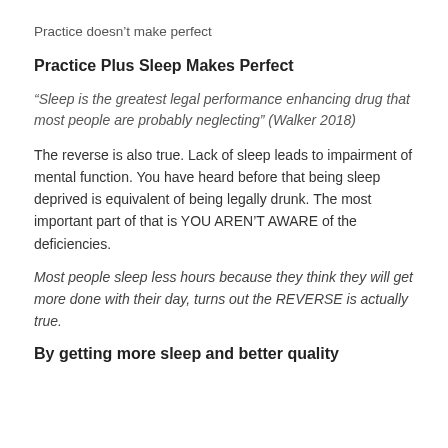Practice doesn't make perfect
Practice Plus Sleep Makes Perfect
“Sleep is the greatest legal performance enhancing drug that most people are probably neglecting” (Walker 2018)
The reverse is also true. Lack of sleep leads to impairment of mental function. You have heard before that being sleep deprived is equivalent of being legally drunk. The most important part of that is YOU AREN’T AWARE of the deficiencies.
Most people sleep less hours because they think they will get more done with their day, turns out the REVERSE is actually true.
By getting more sleep and better quality